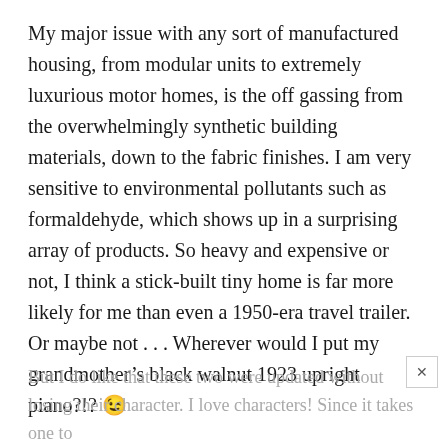My major issue with any sort of manufactured housing, from modular units to extremely luxurious motor homes, is the off gassing from the overwhelmingly synthetic building materials, down to the fabric finishes. I am very sensitive to environmental pollutants such as formaldehyde, which shows up in a surprising array of products. So heavy and expensive or not, I think a stick-built tiny home is far more likely for me than even a 1950-era travel trailer. Or maybe not . . . Wherever would I put my grandmother’s black walnut 1923 upright piano?!? 😉
But I do like that these two were updated without losing their character. I love characters! Since it takes one to